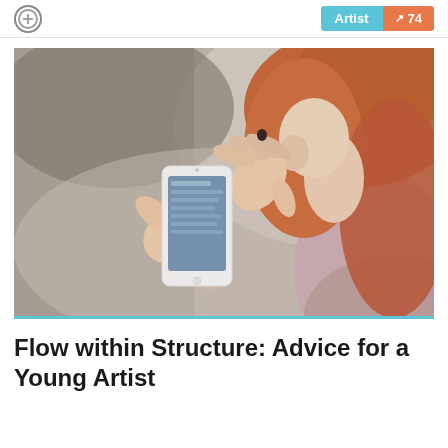[Figure (other): Plus icon circle button on the left, and two badge buttons on the right: 'Artist' in teal/blue and a score badge showing an upward arrow and '74' in orange]
[Figure (photo): A woman with red/auburn hair photographed from behind/side, using a white smartphone with both hands, blurred background suggesting a public space]
Flow within Structure: Advice for a Young Artist